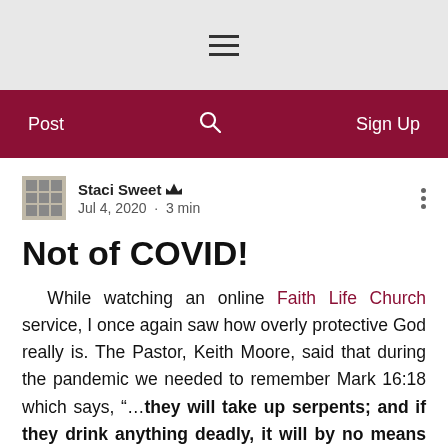≡ (hamburger menu icon)
Post   🔍   Sign Up
Staci Sweet ♛  Jul 4, 2020 · 3 min
Not of COVID!
While watching an online Faith Life Church service, I once again saw how overly protective God really is. The Pastor, Keith Moore, said that during the pandemic we needed to remember Mark 16:18 which says, "…they will take up serpents; and if they drink anything deadly, it will by no means hurt them…'